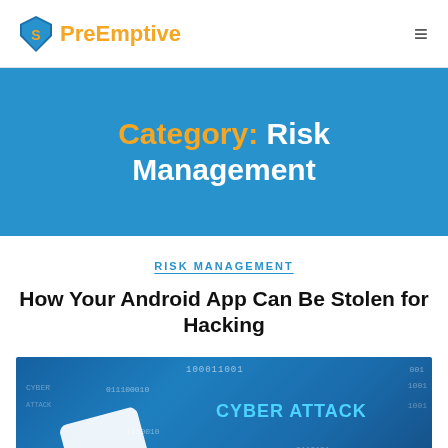PreEmptive
Category: Risk Management
RISK MANAGEMENT
How Your Android App Can Be Stolen for Hacking
[Figure (illustration): Cyber Attack themed illustration with binary code and text reading CYBER ATTACK on a blue background, with a white device/card in the lower left corner]